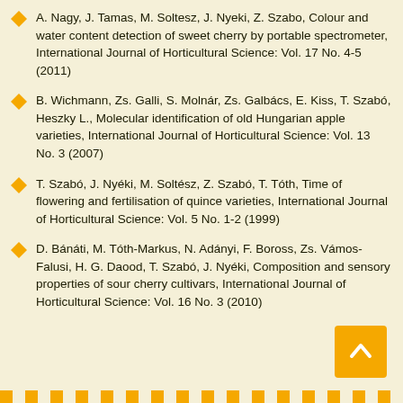A. Nagy, J. Tamas, M. Soltesz, J. Nyeki, Z. Szabo, Colour and water content detection of sweet cherry by portable spectrometer, International Journal of Horticultural Science: Vol. 17 No. 4-5 (2011)
B. Wichmann, Zs. Galli, S. Molnár, Zs. Galbács, E. Kiss, T. Szabó, Heszky L., Molecular identification of old Hungarian apple varieties, International Journal of Horticultural Science: Vol. 13 No. 3 (2007)
T. Szabó, J. Nyéki, M. Soltész, Z. Szabó, T. Tóth, Time of flowering and fertilisation of quince varieties, International Journal of Horticultural Science: Vol. 5 No. 1-2 (1999)
D. Bánáti, M. Tóth-Markus, N. Adányi, F. Boross, Zs. Vámos-Falusi, H. G. Daood, T. Szabó, J. Nyéki, Composition and sensory properties of sour cherry cultivars, International Journal of Horticultural Science: Vol. 16 No. 3 (2010)